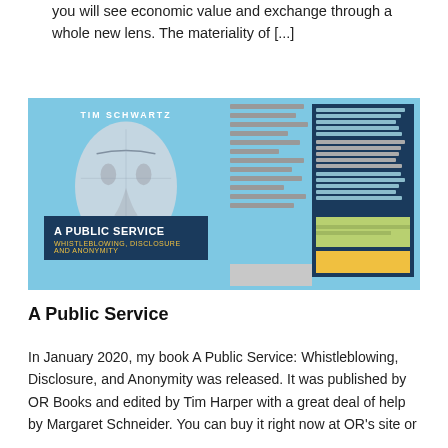you will see economic value and exchange through a whole new lens. The materiality of [...]
[Figure (photo): Book cover of 'A Public Service: Whistleblowing, Disclosure and Anonymity' showing front and back covers. Front cover features a stylized face on a light blue background with the title in a dark blue box. Back cover shows text columns and a yellow box.]
A Public Service
In January 2020, my book A Public Service: Whistleblowing, Disclosure, and Anonymity was released. It was published by OR Books and edited by Tim Harper with a great deal of help by Margaret Schneider. You can buy it right now at OR's site or